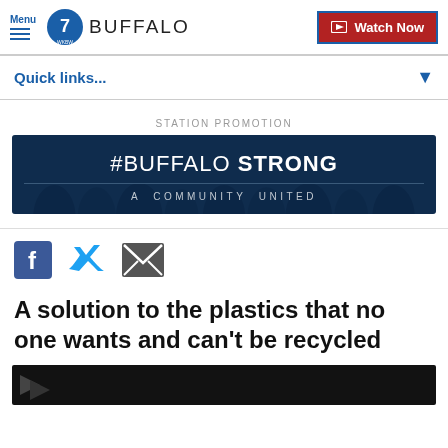Menu | 7 WKBW BUFFALO | Watch Now
Quick links...
STATION PROMOTION
[Figure (illustration): #BUFFALO STRONG A COMMUNITY UNITED banner with dark blue background and crowd silhouette]
[Figure (infographic): Social share icons: Facebook, Twitter, Email]
A solution to the plastics that no one wants and can't be recycled
[Figure (photo): Dark video thumbnail strip at bottom of page]